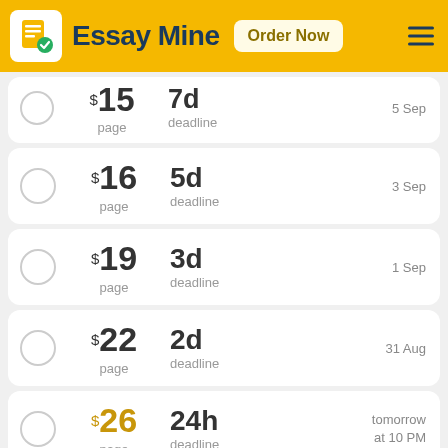[Figure (logo): Essay Mine logo with document icon and hamburger menu, gold header bar with Order Now button]
$15/page, 7d deadline, 5 Sep
$16/page, 5d deadline, 3 Sep
$19/page, 3d deadline, 1 Sep
$22/page, 2d deadline, 31 Aug
$26/page, 24h deadline, tomorrow at 10 PM
8h deadline, tomorrow at 6 AM